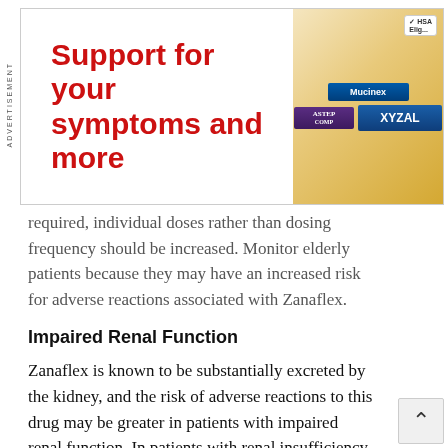[Figure (infographic): Advertisement banner with bold red text 'Support for your symptoms and more' and product images (Mucinex, XYZAL, Astepro) on a golden/yellow background with HSA Eligible badge]
required, individual doses rather than dosing frequency should be increased. Monitor elderly patients because they may have an increased risk for adverse reactions associated with Zanaflex.
Impaired Renal Function
Zanaflex is known to be substantially excreted by the kidney, and the risk of adverse reactions to this drug may be greater in patients with impaired renal function. In patients with renal insufficiency (creatinine clearance < 25 mL/min), clearance was